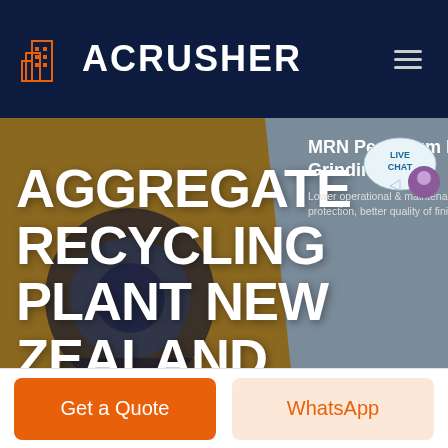[Figure (screenshot): ACRUSHER website screenshot showing header with orange building logo and white ACRUSHER text on dark navy background, hamburger menu icon top right]
AGGREGATE RECYCLING PLANT NEW ZEALAND CRUSHER
MRN Pendulum Roller Grinding Mill
Lower operational & maintenance costs, excellent environmental protection, better quality of finished products
HOME / PRODUCTS
[Figure (photo): Industrial crusher/grinding mill machinery photograph]
[Figure (illustration): Live Chat speech bubble icon with purple chat avatar]
Get a Quote
WhatsApp